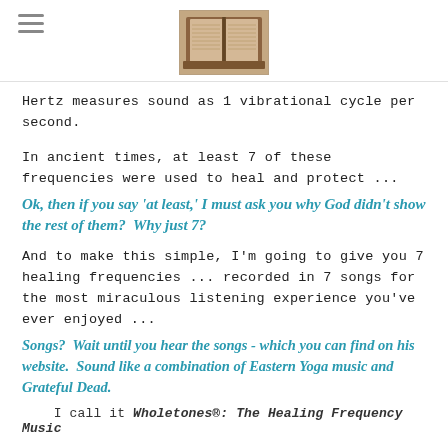[Figure (photo): Open book/Bible photograph shown in page header]
Hertz measures sound as 1 vibrational cycle per second.
In ancient times, at least 7 of these frequencies were used to heal and protect ...
Ok, then if you say 'at least,' I must ask you why God didn't show the rest of them?  Why just 7?
And to make this simple, I'm going to give you 7 healing frequencies ... recorded in 7 songs for the most miraculous listening experience you've ever enjoyed ...
Songs?  Wait until you hear the songs - which you can find on his website.  Sound like a combination of Eastern Yoga music and Grateful Dead.
I call it Wholetones®: The Healing Frequency Music